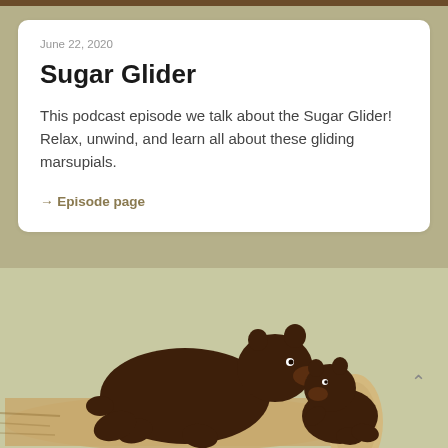June 22, 2020
Sugar Glider
This podcast episode we talk about the Sugar Glider! Relax, unwind, and learn all about these gliding marsupials.
→ Episode page
[Figure (illustration): Illustration of a large brown bear and a small brown bear cub facing each other on a log, on a sage green background]